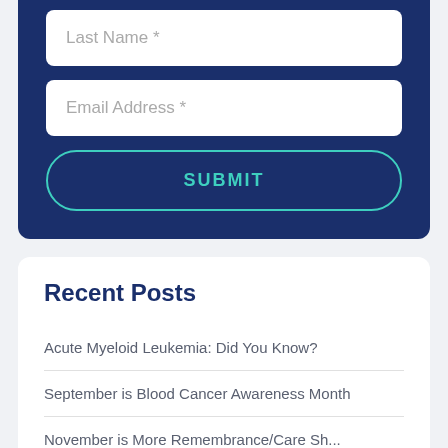Last Name *
Email Address *
SUBMIT
Recent Posts
Acute Myeloid Leukemia: Did You Know?
September is Blood Cancer Awareness Month
November is More Remembrance/Care...